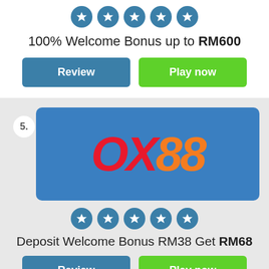[Figure (infographic): Five teal star rating circles in a row]
100% Welcome Bonus up to RM600
Review | Play now (buttons)
[Figure (logo): OX88 casino logo on blue background, numbered item 5]
[Figure (infographic): Five teal star rating circles in a row]
Deposit Welcome Bonus RM38 Get RM68
Review | Play now (buttons)